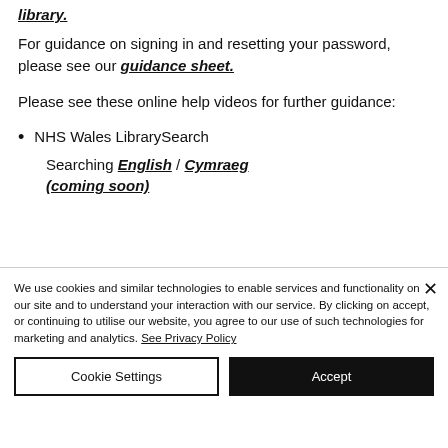library.
For guidance on signing in and resetting your password, please see our guidance sheet.
Please see these online help videos for further guidance:
NHS Wales LibrarySearch
Searching English / Cymraeg (coming soon)
We use cookies and similar technologies to enable services and functionality on our site and to understand your interaction with our service. By clicking on accept, or continuing to utilise our website, you agree to our use of such technologies for marketing and analytics. See Privacy Policy
Cookie Settings
Accept